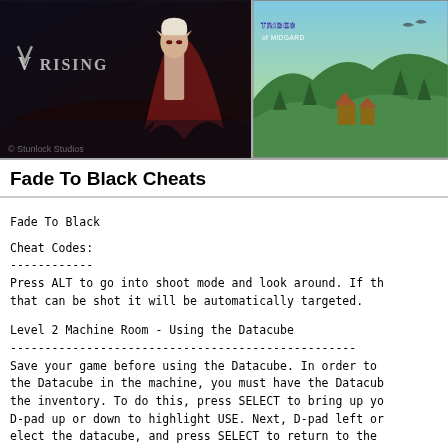[Figure (screenshot): V Rising game banner with vampire character and logo on dark background]
[Figure (screenshot): Tribes of Midgard game banner with colorful fantasy landscape and logo]
Fade To Black Cheats
Fade To Black

Cheat Codes:
------------
Press ALT to go into shoot mode and look around. If th
that can be shot it will be automatically targeted.


Level 2 Machine Room - Using the Datacube
--------------------------------------------------
Save your game before using the Datacube. In order to
the Datacube in the machine, you must have the Datacub
the inventory. To do this, press SELECT to bring up yo
D-pad up or down to highlight USE. Next, D-pad left or
elect the datacube, and press SELECT to return to the
are on the pressure pad in front of the machine, press
button to use the Datacube.
Submit your codes! Having Codes, cheat, hints, tips, trainer or tricks we don